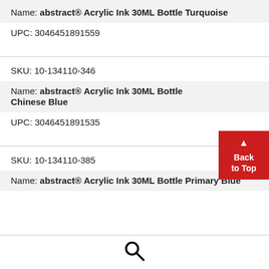Name: abstract® Acrylic Ink 30ML Bottle Turquoise
UPC: 3046451891559
SKU: 10-134110-346
Name: abstract® Acrylic Ink 30ML Bottle Chinese Blue
UPC: 3046451891535
SKU: 10-134110-385
Name: abstract® Acrylic Ink 30ML Bottle Primary Blue